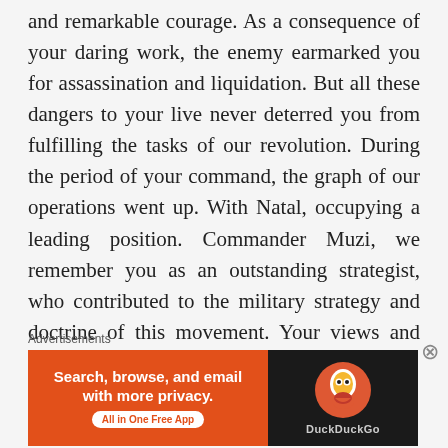and remarkable courage. As a consequence of your daring work, the enemy earmarked you for assassination and liquidation. But all these dangers to your live never deterred you from fulfilling the tasks of our revolution. During the period of your command, the graph of our operations went up. With Natal, occupying a leading position. Commander Muzi, we remember you as an outstanding strategist, who contributed to the military strategy and doctrine of this movement. Your views and clear thinking will always stand out as li...
Advertisements
[Figure (other): DuckDuckGo advertisement banner: orange left panel with text 'Search, browse, and email with more privacy. All in One Free App' and dark right panel with DuckDuckGo logo and name.]